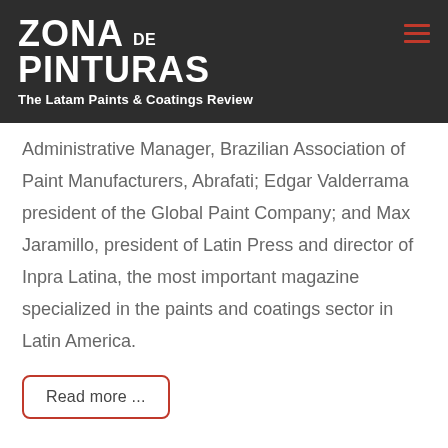ZONA DE PINTURAS — The Latam Paints & Coatings Review
Administrative Manager, Brazilian Association of Paint Manufacturers, Abrafati; Edgar Valderrama president of the Global Paint Company; and Max Jaramillo, president of Latin Press and director of Inpra Latina, the most important magazine specialized in the paints and coatings sector in Latin America.
Read more ...